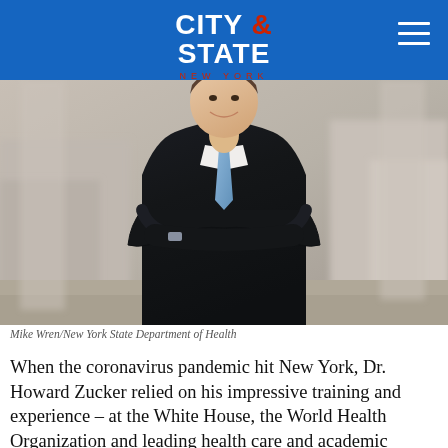CITY & STATE NEW YORK
[Figure (photo): A man in a dark suit and blue tie standing with arms crossed, smiling, in front of stone columns. Professional headshot-style photo of Dr. Howard Zucker.]
Mike Wren/New York State Department of Health
When the coronavirus pandemic hit New York, Dr. Howard Zucker relied on his impressive training and experience – at the White House, the World Health Organization and leading health care and academic